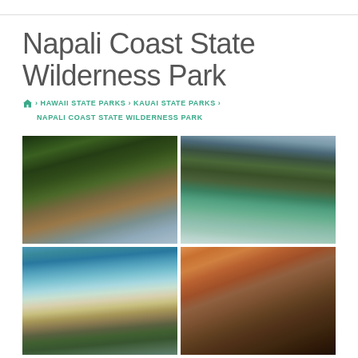Napali Coast State Wilderness Park
🏠 › HAWAII STATE PARKS › KAUAI STATE PARKS › NAPALI COAST STATE WILDERNESS PARK
[Figure (photo): Aerial or ground view of Napali Coast cliffs covered in lush green tropical vegetation leading to the ocean]
[Figure (photo): Aerial view of Napali Coast showing dramatic green cliffs, winding coastline with sandy beach and blue ocean]
[Figure (photo): Beach view of Napali Coast with turquoise water, white sand beach, waves, and tropical palm trees in foreground]
[Figure (photo): Sunset view of Napali Coast sea cliffs with dramatic orange and pink sky]